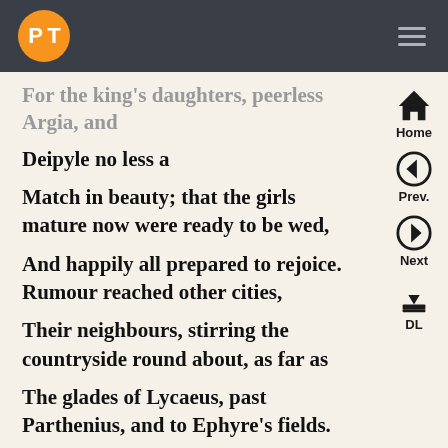PiT [logo] [hamburger menu]
For the king's daughters, peerless Argia, and Deipyle no less a
Match in beauty; that the girls mature now were ready to be wed,
And happily all prepared to rejoice. Rumour reached other cities,
Their neighbours, stirring the countryside round about, as far as
The glades of Lycaeus, past Parthenius, and to Ephyre's fields.
That same goddess of disturbance descended on Ogygian Thebes,